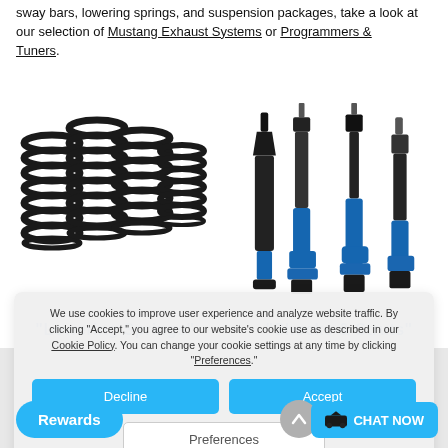sway bars, lowering springs, and suspension packages, take a look at our selection of Mustang Exhaust Systems or Programmers & Tuners.
[Figure (photo): Four black coil springs (lowering springs) arranged in a group on white background]
[Figure (photo): Four blue shock absorbers / struts standing upright on white background]
"Lowering Springs"
"Shocks & Struts"
We use cookies to improve user experience and analyze website traffic. By clicking "Accept," you agree to our website's cookie use as described in our Cookie Policy. You can change your cookie settings at any time by clicking "Preferences."
Decline
Accept
Preferences
Rewards
CHAT NOW